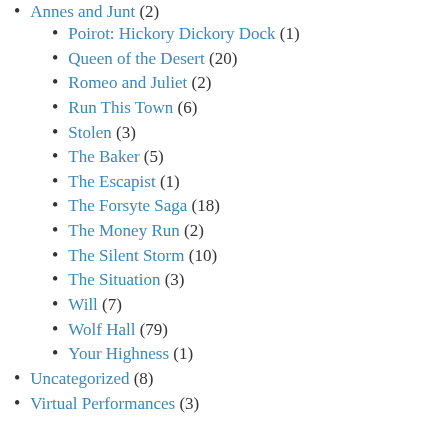Poirot: Hickory Dickory Dock (1)
Queen of the Desert (20)
Romeo and Juliet (2)
Run This Town (6)
Stolen (3)
The Baker (5)
The Escapist (1)
The Forsyte Saga (18)
The Money Run (2)
The Silent Storm (10)
The Situation (3)
Will (7)
Wolf Hall (79)
Your Highness (1)
Uncategorized (8)
Virtual Performances (3)